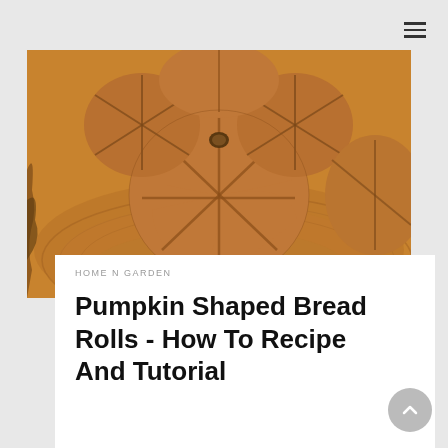[Figure (photo): Pumpkin-shaped bread rolls arranged on a wooden cutting board, golden brown baked rolls with a walnut on top, viewed from above]
HOME N GARDEN
Pumpkin Shaped Bread Rolls - How To Recipe And Tutorial